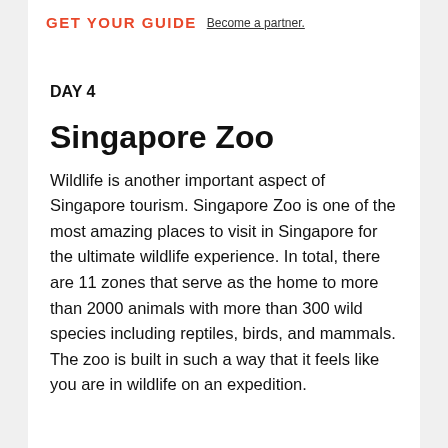GET YOUR GUIDE  Become a partner.
DAY 4
Singapore Zoo
Wildlife is another important aspect of Singapore tourism. Singapore Zoo is one of the most amazing places to visit in Singapore for the ultimate wildlife experience. In total, there are 11 zones that serve as the home to more than 2000 animals with more than 300 wild species including reptiles, birds, and mammals. The zoo is built in such a way that it feels like you are in wildlife on an expedition.